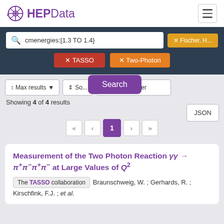[Figure (logo): HEPData logo with circular crosshair icon in purple and text HEPData]
cmenergies:[1.3 TO 1.4}
✕ Fischer, H...
✕ TASSO
✕ Two-Photon
Search
↕ Max results ▼
↕ Sort...
↕ Reverse order
JSON
Showing 4 of 4 results
« ‹ 1 › »
Measurement of the Two Photon Reaction γγ → π+π−π+π− at Large Values of Q²
The TASSO collaboration  Braunschweig, W. ; Gerhards, R. ; Kirschfink, F.J. ; et al.